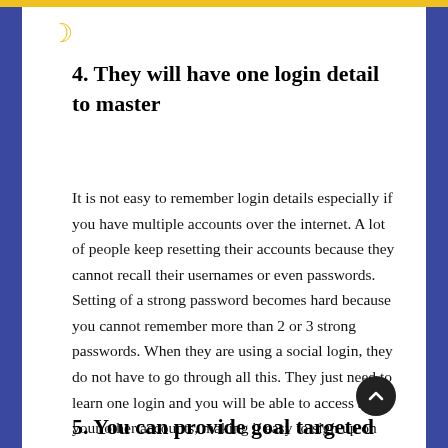4. They will have one login detail to master
It is not easy to remember login details especially if you have multiple accounts over the internet. A lot of people keep resetting their accounts because they cannot recall their usernames or even passwords. Setting of a strong password becomes hard because you cannot remember more than 2 or 3 strong passwords. When they are using a social login, they do not have to go through all this. They just need to learn one login and you will be able to access all your other accounts, making it easy to sign up on your site.
5. You can provide goal targeted